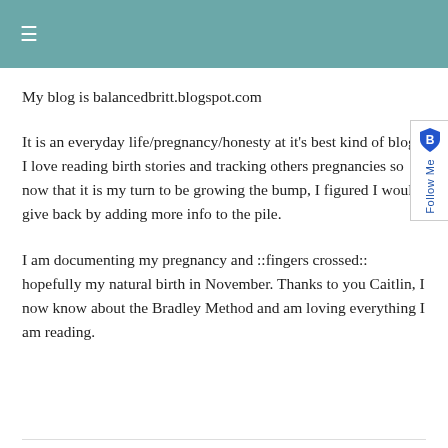≡
My blog is balancedbritt.blogspot.com
It is an everyday life/pregnancy/honesty at it's best kind of blog. I love reading birth stories and tracking others pregnancies so now that it is my turn to be growing the bump, I figured I would give back by adding more info to the pile.
I am documenting my pregnancy and ::fingers crossed:: hopefully my natural birth in November. Thanks to you Caitlin, I now know about the Bradley Method and am loving everything I am reading.